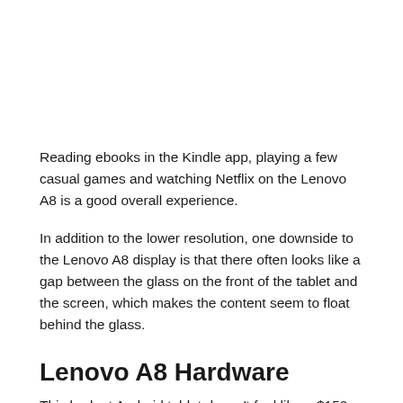Reading ebooks in the Kindle app, playing a few casual games and watching Netflix on the Lenovo A8 is a good overall experience.
In addition to the lower resolution, one downside to the Lenovo A8 display is that there often looks like a gap between the glass on the front of the tablet and the screen, which makes the content seem to float behind the glass.
Lenovo A8 Hardware
This budget Android tablet doesn't feel like a $150 tablet...